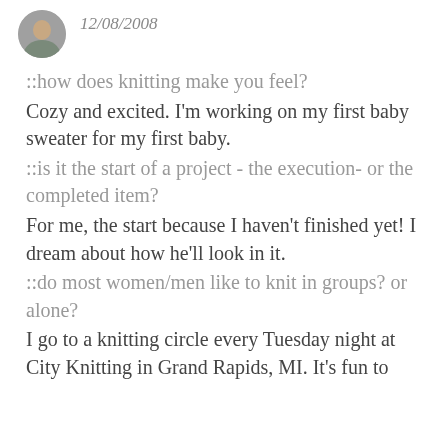[Figure (photo): Small circular avatar photo of a person]
12/08/2008
::how does knitting make you feel?
Cozy and excited. I'm working on my first baby sweater for my first baby.
::is it the start of a project - the execution- or the completed item?
For me, the start because I haven't finished yet! I dream about how he'll look in it.
::do most women/men like to knit in groups? or alone?
I go to a knitting circle every Tuesday night at City Knitting in Grand Rapids, MI. It's fun to